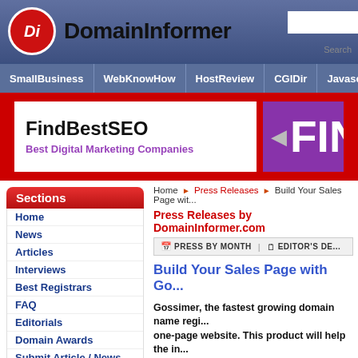DomainInformer
[Figure (logo): DomainInformer logo with red circle Di icon and bold site name]
SmallBusiness | WebKnowHow | HostReview | CGIDir | JavascriptSear
[Figure (screenshot): FindBestSEO banner advertisement - Best Digital Marketing Companies]
Sections
Home
News
Articles
Interviews
Best Registrars
FAQ
Editorials
Domain Awards
Submit Article / News
Home ► Press Releases ► Build Your Sales Page with Go...
Press Releases by DomainInformer.com
PRESS BY MONTH | EDITOR'S DE...
Build Your Sales Page with Go...
Gossimer, the fastest growing domain name regi... one-page website. This product will help the in...
Subscribe